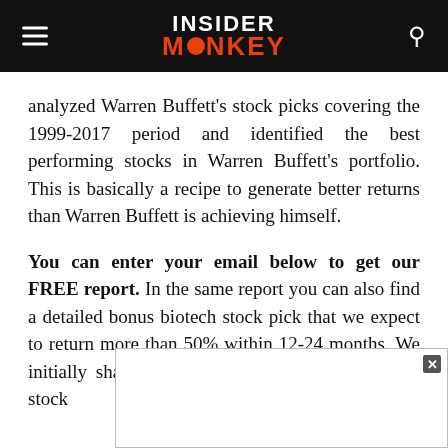INSIDER MONKEY
analyzed Warren Buffett's stock picks covering the 1999-2017 period and identified the best performing stocks in Warren Buffett's portfolio. This is basically a recipe to generate better returns than Warren Buffett is achieving himself.
You can enter your email below to get our FREE report. In the same report you can also find a detailed bonus biotech stock pick that we expect to return more than 50% within 12-24 months. We initially share this idea in October 2018 and the stock already retur[ned...] this inve[stment...]